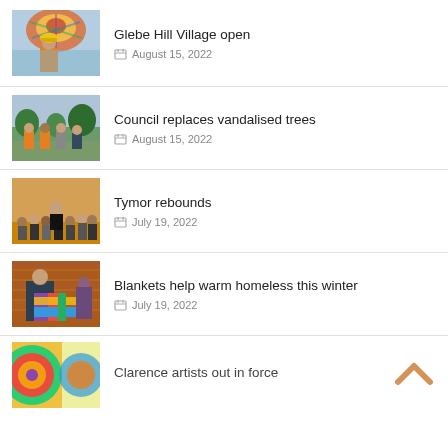[Figure (photo): Man in orange hi-vis vest and hard hat standing in front of colorful decorated ceiling]
Glebe Hill Village open
August 15, 2022
[Figure (photo): Three workers in hi-vis vests and one in casual clothing standing outdoors near trees]
Council replaces vandalised trees
August 15, 2022
[Figure (photo): Group of youth basketball players and adults posing together indoors]
Tymor rebounds
July 19, 2022
[Figure (photo): Woman holding colorful patchwork blanket in front of brick wall, with another person visible]
Blankets help warm homeless this winter
July 19, 2022
[Figure (photo): Partial view of artwork - colorful circular design]
Clarence artists out in force